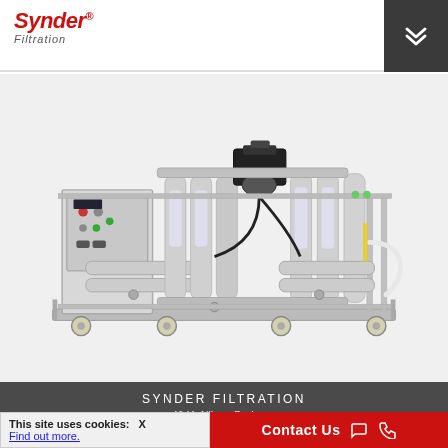Synder® Filtration
[Figure (photo): Industrial filtration system on wheels — a large stainless steel membrane filtration skid with vertical tube modules, control panel with gauges and switches, motor/pump assembly on top, piping, valves, and clear sight-glass flow indicators, mounted on a wheeled frame.]
SYNDER FILTRATION
4941 Allison Parkway
taville, CA 95688, US
This site uses cookies:   X
Find out more.
Contact Us